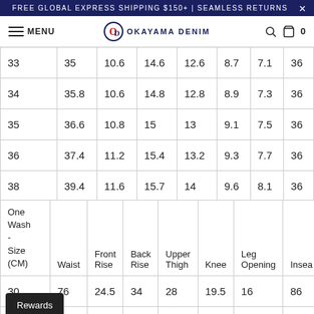FREE GLOBAL EXPRESS SHIPPING $150+ | SEAMLESS RETURNS
[Figure (screenshot): Okayama Denim website navigation bar with menu, logo, search and cart icons]
|  | Waist | Front Rise | Back Rise | Upper Thigh | Knee | Leg Opening | Inseam |
| --- | --- | --- | --- | --- | --- | --- | --- |
| 33 | 35 | 10.6 | 14.6 | 12.6 | 8.7 | 7.1 | 36 |
| 34 | 35.8 | 10.6 | 14.8 | 12.8 | 8.9 | 7.3 | 36 |
| 35 | 36.6 | 10.8 | 15 | 13 | 9.1 | 7.5 | 36 |
| 36 | 37.4 | 11.2 | 15.4 | 13.2 | 9.3 | 7.7 | 36 |
| 38 | 39.4 | 11.6 | 15.7 | 14 | 9.6 | 8.1 | 36 |
| One Wash - Size (CM) | Waist | Front Rise | Back Rise | Upper Thigh | Knee | Leg Opening | Inseam |
| --- | --- | --- | --- | --- | --- | --- | --- |
| 30 | 76 | 24.5 | 34 | 28 | 19.5 | 16 | 86 |
| 31 | 78 | 24.5 | 34 | 28.5 | 20 | 16.5 | 86 |
Rewards